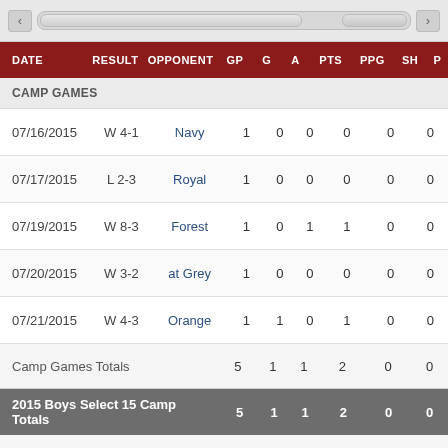| DATE | RESULT | OPPONENT | GP | G | A | PTS | PPG | SH | P |
| --- | --- | --- | --- | --- | --- | --- | --- | --- | --- |
| 07/16/2015 | W 4-1 | Navy | 1 | 0 | 0 | 0 | 0 | 0 |
| 07/17/2015 | L 2-3 | Royal | 1 | 0 | 0 | 0 | 0 | 0 |
| 07/19/2015 | W 8-3 | Forest | 1 | 0 | 1 | 1 | 0 | 0 |
| 07/20/2015 | W 3-2 | at Grey | 1 | 0 | 0 | 0 | 0 | 0 |
| 07/21/2015 | W 4-3 | Orange | 1 | 1 | 0 | 1 | 0 | 0 |
| Camp Games Totals |  |  | 5 | 1 | 1 | 2 | 0 | 0 |
| 2015 Boys Select 15 Camp Totals |  |  | 5 | 1 | 1 | 2 | 0 | 0 |
CURRENT SECTION
Past Development Camps